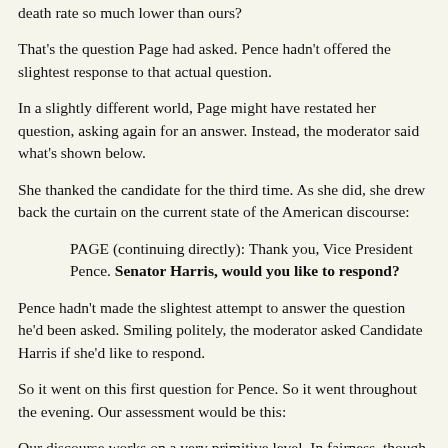death rate so much lower than ours?
That's the question Page had asked. Pence hadn't offered the slightest response to that actual question.
In a slightly different world, Page might have restated her question, asking again for an answer. Instead, the moderator said what's shown below.
She thanked the candidate for the third time. As she did, she drew back the curtain on the current state of the American discourse:
PAGE (continuing directly): Thank you, Vice President Pence. Senator Harris, would you like to respond?
Pence hadn't made the slightest attempt to answer the question he'd been asked. Smiling politely, the moderator asked Candidate Harris if she'd like to respond.
So it went on this first question for Pence. So it went throughout the evening. Our assessment would be this:
Our discourse works on a very primitive level. In fairness, though